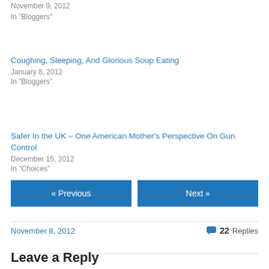November 9, 2012
In "Bloggers"
Coughing, Sleeping, And Glorious Soup Eating
January 8, 2012
In "Bloggers"
Safer In the UK – One American Mother's Perspective On Gun Control
December 15, 2012
In "Choices"
November 8, 2012
22 Replies
« Previous
Next »
Leave a Reply